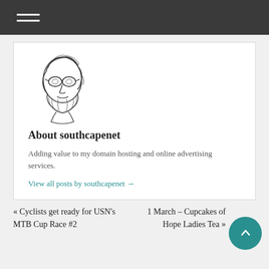Navigation menu
[Figure (illustration): Sketch/line drawing of a bearded person with glasses]
About southcapenet
Adding value to my domain hosting and online advertising services.
View all posts by southcapenet →
« Cyclists get ready for USN's MTB Cup Race #2
1 March – Cupcakes of Hope Ladies Tea »